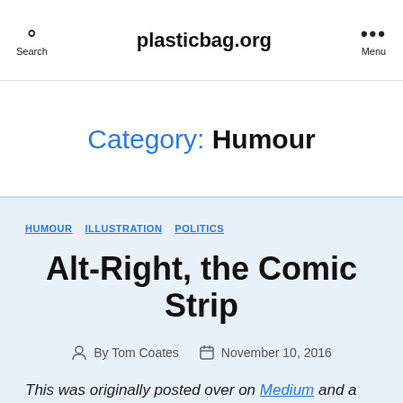plasticbag.org
Category: Humour
HUMOUR   ILLUSTRATION   POLITICS
Alt-Right, the Comic Strip
By Tom Coates   November 10, 2016
This was originally posted over on Medium and a copy